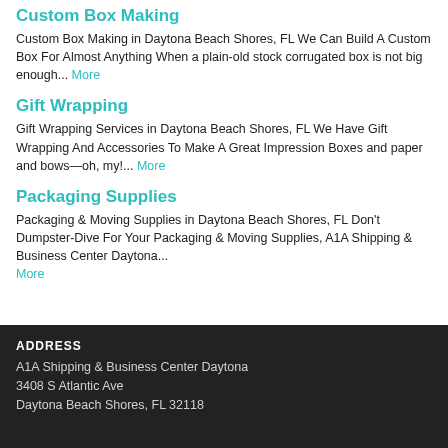Custom Box Making
Custom Box Making in Daytona Beach Shores, FL We Can Build A Custom Box For Almost Anything When a plain-old stock corrugated box is not big enough... More
Gift Wrapping
Gift Wrapping Services in Daytona Beach Shores, FL We Have Gift Wrapping And Accessories To Make A Great Impression Boxes and paper and bows—oh, my!... More
Packaging Supplies
Packaging & Moving Supplies in Daytona Beach Shores, FL Don't Dumpster-Dive For Your Packaging & Moving Supplies, A1A Shipping & Business Center Daytona... More
ADDRESS
A1A Shipping & Business Center Daytona
3408 S Atlantic Ave
Daytona Beach Shores, FL 32118